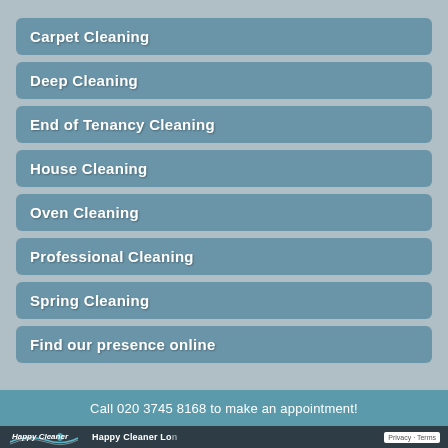Carpet Cleaning
Deep Cleaning
End of Tenancy Cleaning
House Cleaning
Oven Cleaning
Professional Cleaning
Spring Cleaning
Find our presence online
Call 020 3745 8168 to make an appointment!
Happy Cleaner London    Privacy - Terms